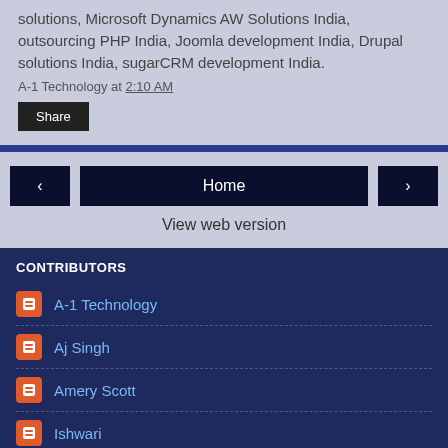solutions, Microsoft Dynamics AW Solutions India, outsourcing PHP India, Joomla development India, Drupal solutions India, sugarCRM development India.
A-1 Technology at 2:10 AM
Share
< Home >
View web version
CONTRIBUTORS
A-1 Technology
Aj Singh
Amery Scott
Ishwari
Rich
Powered by Blogger.